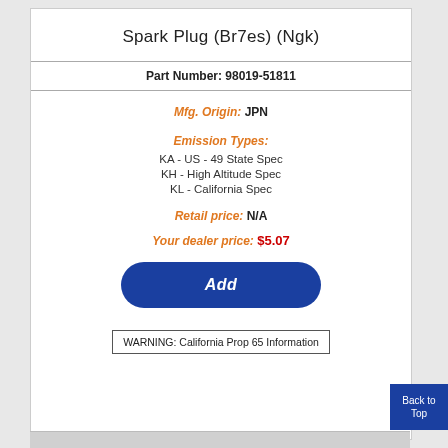Spark Plug (Br7es) (Ngk)
Part Number: 98019-51811
Mfg. Origin: JPN
Emission Types:
KA - US - 49 State Spec
KH - High Altitude Spec
KL - California Spec
Retail price: N/A
Your dealer price: $5.07
Add
WARNING: California Prop 65 Information